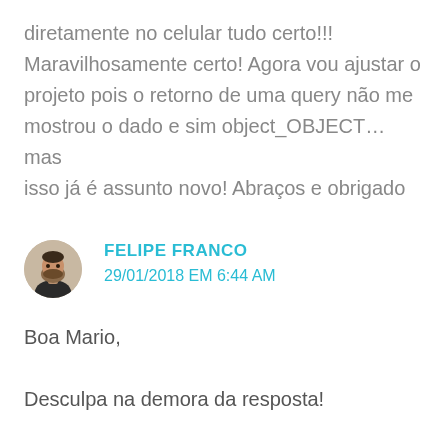diretamente no celular tudo certo!!! Maravilhosamente certo! Agora vou ajustar o projeto pois o retorno de uma query não me mostrou o dado e sim object_OBJECT… mas isso já é assunto novo! Abraços e obrigado
FELIPE FRANCO
29/01/2018 EM 6:44 AM
Boa Mario,

Desculpa na demora da resposta!